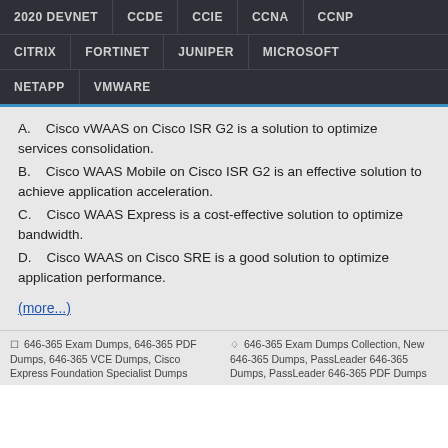2020 DEVNET | CCDE | CCIE | CCNA | CCNP | CITRIX | FORTINET | JUNIPER | MICROSOFT | NETAPP | VMWARE
A.    Cisco vWAAS on Cisco ISR G2 is a solution to optimize services consolidation.
B.    Cisco WAAS Mobile on Cisco ISR G2 is an effective solution to achieve application acceleration.
C.    Cisco WAAS Express is a cost-effective solution to optimize bandwidth.
D.    Cisco WAAS on Cisco SRE is a good solution to optimize application performance.
(more...)
646-365 Exam Dumps, 646-365 PDF Dumps, 646-365 VCE Dumps, Cisco Express Foundation Specialist Dumps | 646-365 Exam Dumps Collection, New 646-365 Dumps, PassLeader 646-365 Dumps, PassLeader 646-365 PDF Dumps